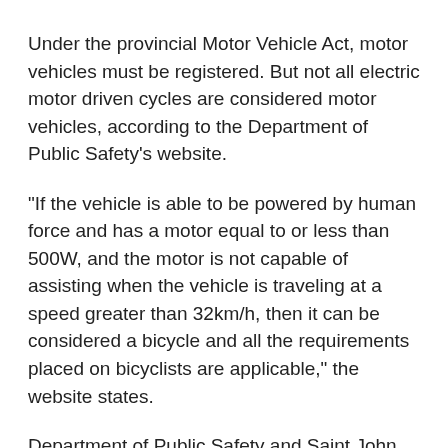Under the provincial Motor Vehicle Act, motor vehicles must be registered. But not all electric motor driven cycles are considered motor vehicles, according to the Department of Public Safety's website.
"If the vehicle is able to be powered by human force and has a motor equal to or less than 500W, and the motor is not capable of assisting when the vehicle is traveling at a speed greater than 32km/h, then it can be considered a bicycle and all the requirements placed on bicyclists are applicable," the website states.
Department of Public Safety and Saint John Police Force officials could not immediately be reached for comment.